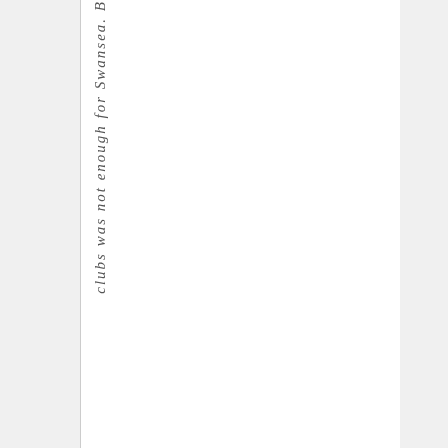clubs was not enough for Swansea. B